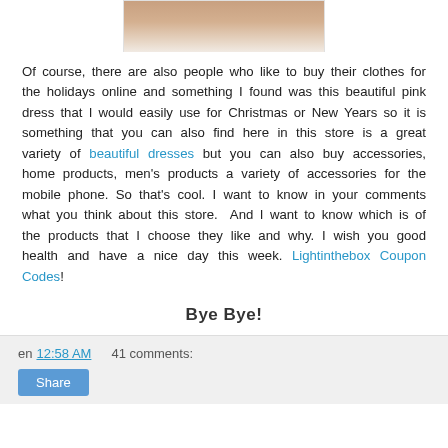[Figure (photo): Partial photo of a person, cropped at top of page]
Of course, there are also people who like to buy their clothes for the holidays online and something I found was this beautiful pink dress that I would easily use for Christmas or New Years so it is something that you can also find here in this store is a great variety of beautiful dresses but you can also buy accessories, home products, men's products a variety of accessories for the mobile phone. So that's cool. I want to know in your comments what you think about this store. And I want to know which is of the products that I choose they like and why. I wish you good health and have a nice day this week. Lightinthebox Coupon Codes!
Bye Bye!
en 12:58 AM    41 comments: